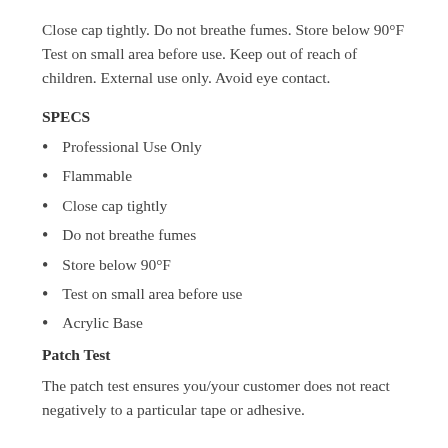Close cap tightly. Do not breathe fumes. Store below 90°F Test on small area before use. Keep out of reach of children. External use only. Avoid eye contact.
SPECS
Professional Use Only
Flammable
Close cap tightly
Do not breathe fumes
Store below 90°F
Test on small area before use
Acrylic Base
Patch Test
The patch test ensures you/your customer does not react negatively to a particular tape or adhesive.